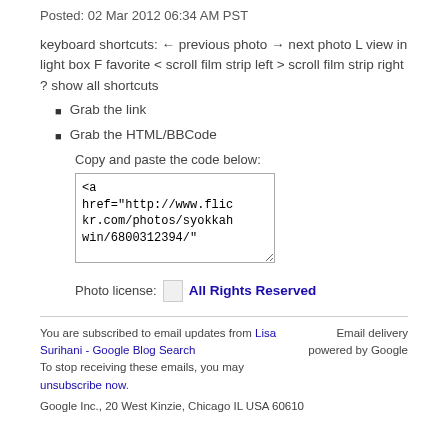Posted: 02 Mar 2012 06:34 AM PST
keyboard shortcuts: ← previous photo → next photo L view in light box F favorite < scroll film strip left > scroll film strip right ? show all shortcuts
Grab the link
Grab the HTML/BBCode
Copy and paste the code below:
<a href="http://www.flickr.com/photos/syokkahwin/6800312394/"
Photo license:  All Rights Reserved
You are subscribed to email updates from Lisa Surihani - Google Blog Search
To stop receiving these emails, you may unsubscribe now.
Google Inc., 20 West Kinzie, Chicago IL USA 60610
Email delivery powered by Google